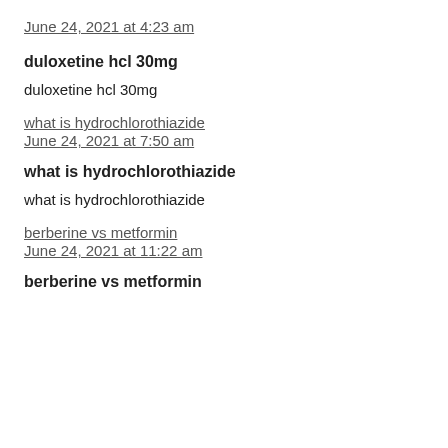June 24, 2021 at 4:23 am
duloxetine hcl 30mg
duloxetine hcl 30mg
what is hydrochlorothiazide
June 24, 2021 at 7:50 am
what is hydrochlorothiazide
what is hydrochlorothiazide
berberine vs metformin
June 24, 2021 at 11:22 am
berberine vs metformin